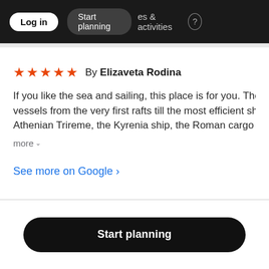Start planning | places & activities | Log in
★★★★★ By Elizaveta Rodina
If you like the sea and sailing, this place is for you. There is vessels from the very first rafts till the most efficient ships Athenian Trireme, the Kyrenia ship, the Roman cargo sailin more
See more on Google ›
Start planning